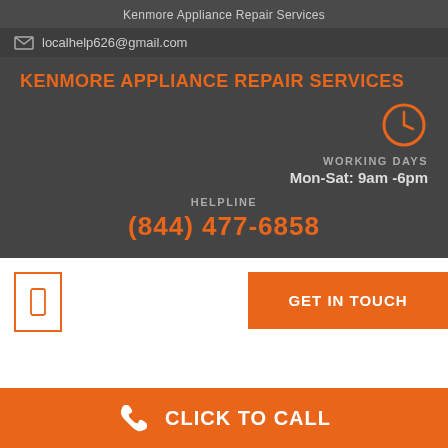Kenmore Appliance Repair Services
localhelp626@gmail.com
KENMORE APPLIANCE REPAIR SERVICES
WORKING DAYS
Mon-Sat: 9am -6pm
HELPLINE
(844) 477-6858
GET IN TOUCH
CLICK TO CALL